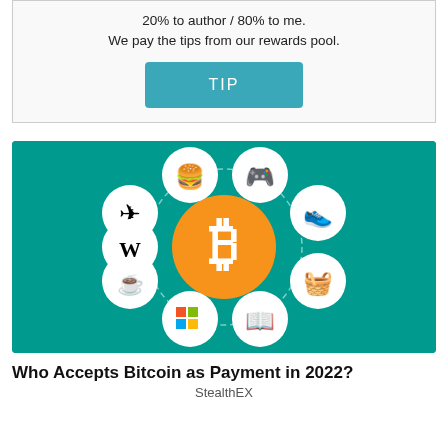20% to author / 80% to me.
We pay the tips from our rewards pool.
[Figure (illustration): A teal/green background infographic showing a central orange Bitcoin (B) coin icon surrounded by circular icons representing various services: burger/food, game controller, airplane/travel, sneaker/shoes, Wikipedia W, grocery basket, book/reading, Microsoft Windows logo, Starbucks logo.]
Who Accepts Bitcoin as Payment in 2022?
StealthEX